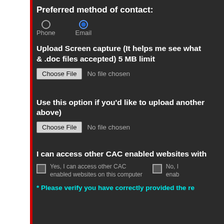Preferred method of contact:
Phone  Email (Email selected)
Upload Screen capture (It helps me see what & .doc files accepted) 5 MB limit
Choose File  No file chosen
Use this option if you'd like to upload another above)
Choose File  No file chosen
I can access other CAC enabled websites with
Yes, I can access other CAC enabled websites on this computer
No, I  enab
* Please verify you have correctly provided the re